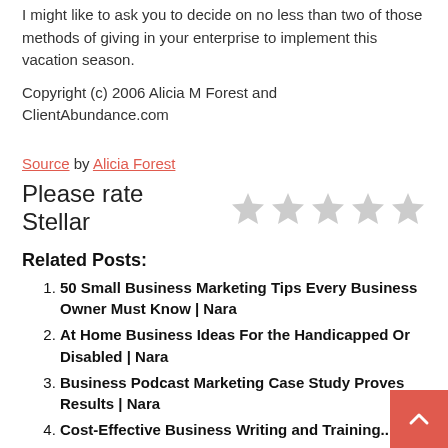I might like to ask you to decide on no less than two of those methods of giving in your enterprise to implement this vacation season.
Copyright (c) 2006 Alicia M Forest and ClientAbundance.com
Source by Alicia Forest
Please rate Stellar
Related Posts:
50 Small Business Marketing Tips Every Business Owner Must Know | Nara
At Home Business Ideas For the Handicapped Or Disabled | Nara
Business Podcast Marketing Case Study Proves Results | Nara
Cost-Effective Business Writing and Training...